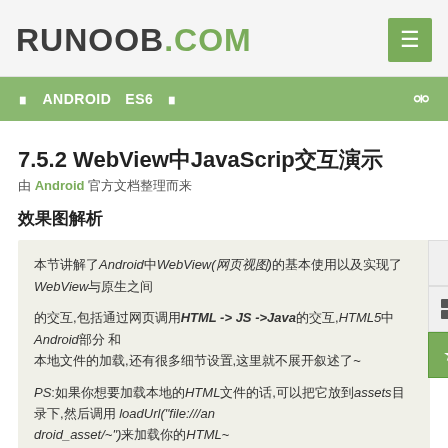RUNOOB.COM
□□  ANDROID  ES6  □□
7.5.2 WebView□JavaScrip□□□□
□□ Android □□□□□□□
□□□□□□
□□□□□□□Android□WebView(□□□□)□□□□□□□□□□□WebView□□□□□□ □□□□□□□□□□□□HTML -> JS ->Java□□HTML5□□Android□□□□ □□□□□□□□□□□□□□□□□□□□□□□□□□□□~ PS□□□□□□□□□HTML□□□□□□□□assets□□□□□□□□ loadUrl("file:///android_asset/~")□□□□□□HTML~